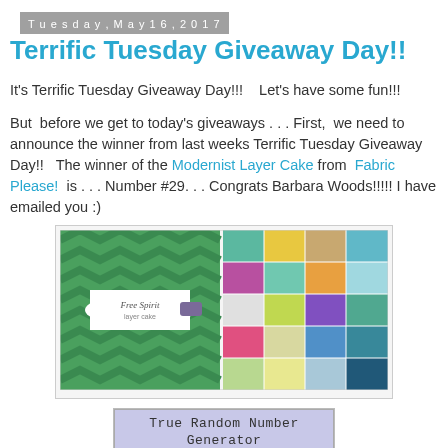Tuesday, May 16, 2017
Terrific Tuesday Giveaway Day!!
It's Terrific Tuesday Giveaway Day!!!    Let's have some fun!!!
But  before we get to today's giveaways . . . First,  we need to announce the winner from last weeks Terrific Tuesday Giveaway Day!!   The winner of the Modernist Layer Cake from  Fabric Please!  is . . . Number #29. . . Congrats Barbara Woods!!!!! I have emailed you :)
[Figure (photo): Photo of a green and white fabric layer cake bundle on the left, and a colorful patchwork quilt layout on the right]
| True Random Number Generator |
| --- |
| Min: | 1 |
| Max: | 262 |